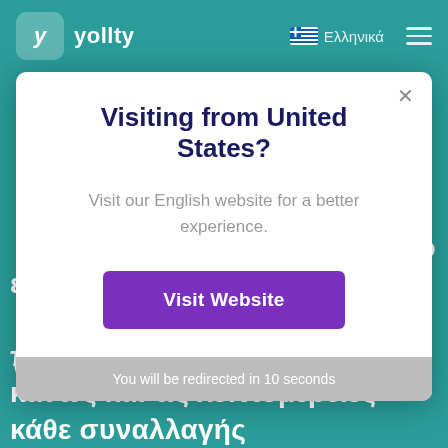yollty  Ελληνικά
Visiting from United States?
Visit our English website for a better experience.
Visit Website
You will be redirected in 10 seconds
τοσα εχουν ξοδεψει, ποιο είναι το τρεχον τους, τους φίλους που προσκάλεσαν καθώς και τις λεπτομέρειες κάθε συναλλαγής